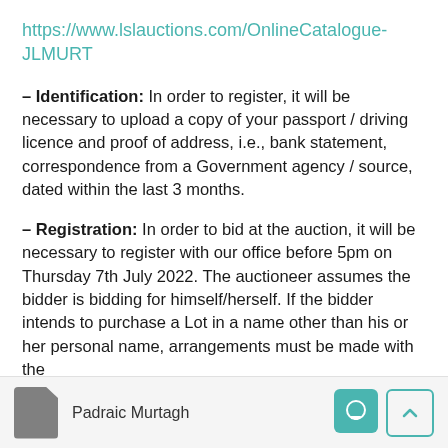https://www.lslauctions.com/OnlineCatalogue-JLMURT
– Identification: In order to register, it will be necessary to upload a copy of your passport / driving licence and proof of address, i.e., bank statement, correspondence from a Government agency / source, dated within the last 3 months.
– Registration: In order to bid at the auction, it will be necessary to register with our office before 5pm on Thursday 7th July 2022. The auctioneer assumes the bidder is bidding for himself/herself. If the bidder intends to purchase a Lot in a name other than his or her personal name, arrangements must be made with the
Padraic Murtagh